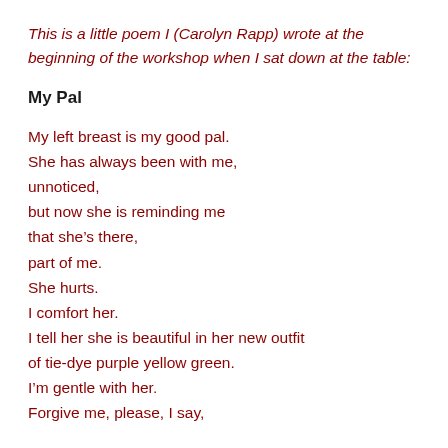This is a little poem I (Carolyn Rapp) wrote at the beginning of the workshop when I sat down at the table:
My Pal
My left breast is my good pal.
She has always been with me,
unnoticed,
but now she is reminding me
that she’s there,
part of me.
She hurts.
I comfort her.
I tell her she is beautiful in her new outfit
of tie-dye purple yellow green.
I’m gentle with her.
Forgive me, please, I say,